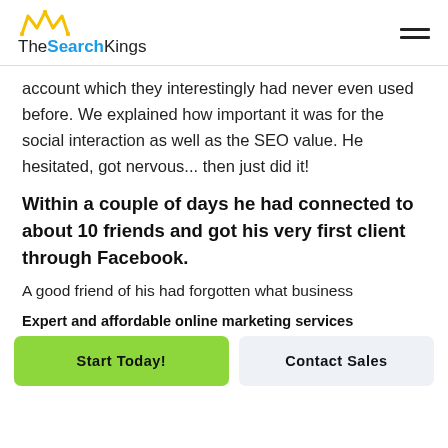[Figure (logo): TheSearchKings logo with yellow crown icon above the text 'The Search Kings' where 'Search' is in blue bold]
account which they interestingly had never even used before. We explained how important it was for the social interaction as well as the SEO value. He hesitated, got nervous... then just did it!
Within a couple of days he had connected to about 10 friends and got his very first client through Facebook.
A good friend of his had forgotten what business
Expert and affordable online marketing services
Start Today!
Contact Sales